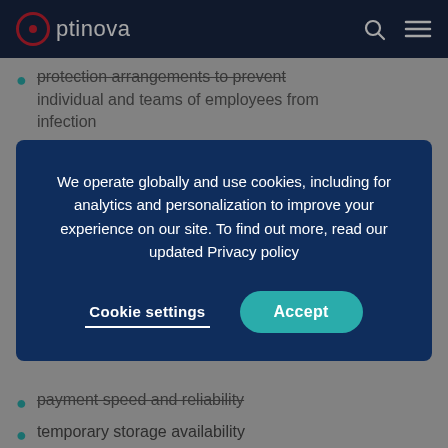Optinova
protection arrangements to prevent individual and teams of employees from infection
safety and additional cleanliness measures for
We operate globally and use cookies, including for analytics and personalization to improve your experience on our site. To find out more, read our updated Privacy policy
Cookie settings   Accept
payment speed and reliability
temporary storage availability
customer availability to receive goods
Proactivity and finding new solutions:
Out of concern for our employees and society,